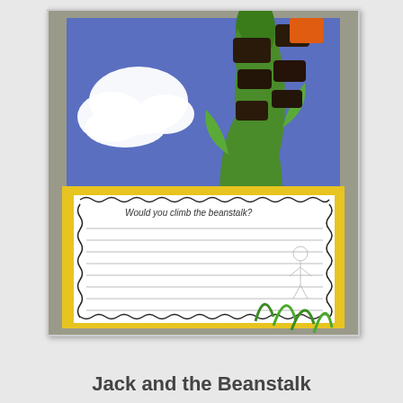[Figure (photo): A classroom craft project showing Jack and the Beanstalk. Top half: blue construction paper background with a white cloud shape and a tall green beanstalk with dark brown/black rectangular blocks (giant's feet) and an orange patch at the top right. Bottom half: a yellow-bordered writing paper with a decorative doodle border, title 'Would you climb the beanstalk?' and lined writing space with a small figure of Jack drawn in pencil at the right side.]
Jack and the Beanstalk